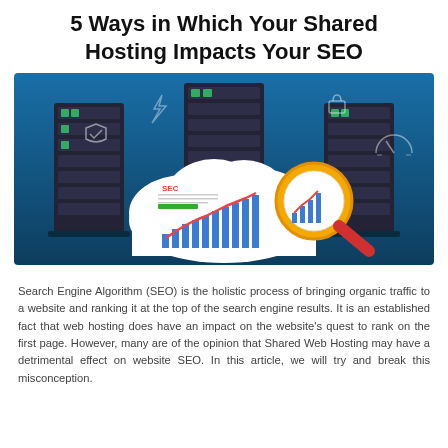5 Ways in Which Your Shared Hosting Impacts Your SEO
[Figure (illustration): Illustration showing server racks in a blue data center environment with a white cloud in the foreground. The cloud contains a bar chart with an upward trending red line and a magnifying glass with a bar chart inside it, representing SEO analytics. Decorative icons include a shield with checkmark, lightning bolt, padlock, and speedometer.]
Search Engine Algorithm (SEO) is the holistic process of bringing organic traffic to a website and ranking it at the top of the search engine results. It is an established fact that web hosting does have an impact on the website's quest to rank on the first page. However, many are of the opinion that Shared Web Hosting may have a detrimental effect on website SEO. In this article, we will try and break this misconception.